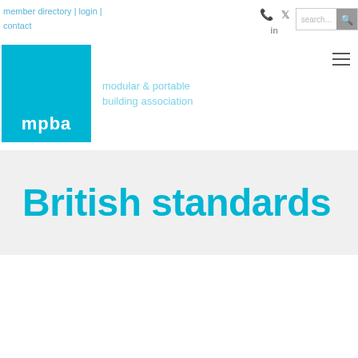member directory | login | contact
[Figure (logo): MPBA logo - cyan blue square with 'mpba' text in white, followed by 'modular & portable building association' in light blue text]
British standards